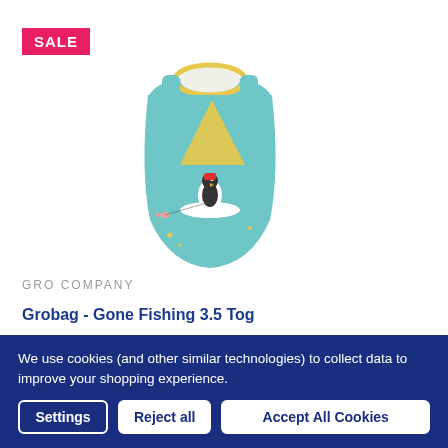[Figure (photo): Baby sleeping bag / Grobag in teal/aqua color with yellow sail boat triangle design and a small penguin character, sleeveless with yellow trim at neck. Red 'SALE' badge in top left corner.]
GRO COMPANY
Grobag - Gone Fishing 3.5 Tog
We use cookies (and other similar technologies) to collect data to improve your shopping experience.
Settings
Reject all
Accept All Cookies